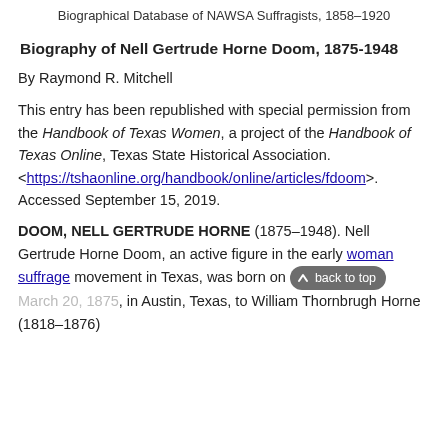Biographical Database of NAWSA Suffragists, 1858–1920
Biography of Nell Gertrude Horne Doom, 1875-1948
By Raymond R. Mitchell
This entry has been republished with special permission from the Handbook of Texas Women, a project of the Handbook of Texas Online, Texas State Historical Association. <https://tshaonline.org/handbook/online/articles/fdoom>. Accessed September 15, 2019.
DOOM, NELL GERTRUDE HORNE (1875–1948). Nell Gertrude Horne Doom, an active figure in the early woman suffrage movement in Texas, was born on March 20, 1875, in Austin, Texas, to William Thornbrugh Horne (1818–1876)